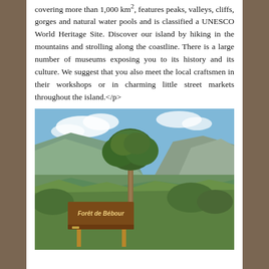covering more than 1,000 km², features peaks, valleys, cliffs, gorges and natural water pools and is classified a UNESCO World Heritage Site. Discover our island by hiking in the mountains and strolling along the coastline. There is a large number of museums exposing you to its history and its culture. We suggest that you also meet the local craftsmen in their workshops or in charming little street markets throughout the island.</p>
[Figure (photo): Outdoor landscape photo of Forêt de Bébour: a large tree stands prominently against a backdrop of green hillsides, mountains with clouds, and blue sky. In the foreground is a brown wooden sign reading 'Forêt de Bébour' with green grass below.]